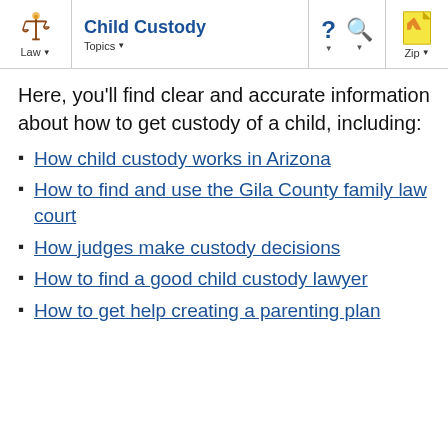Law | Child Custody | Topics | ? | Search | Zip
Here, you'll find clear and accurate information about how to get custody of a child, including:
How child custody works in Arizona
How to find and use the Gila County family law court
How judges make custody decisions
How to find a good child custody lawyer
How to get help creating a parenting plan